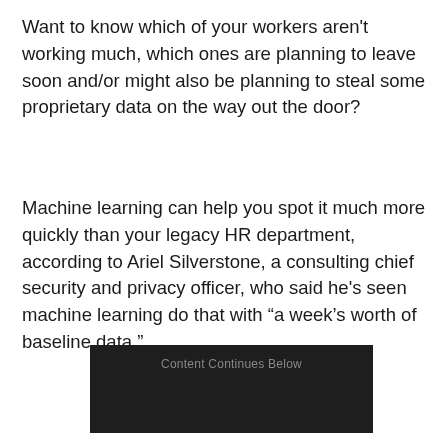Want to know which of your workers aren't working much, which ones are planning to leave soon and/or might also be planning to steal some proprietary data on the way out the door?
Machine learning can help you spot it much more quickly than your legacy HR department, according to Ariel Silverstone, a consulting chief security and privacy officer, who said he's seen machine learning do that with “a week’s worth of baseline data.”
[Figure (other): Dark advertisement placeholder box with text 'Content Continues Below']